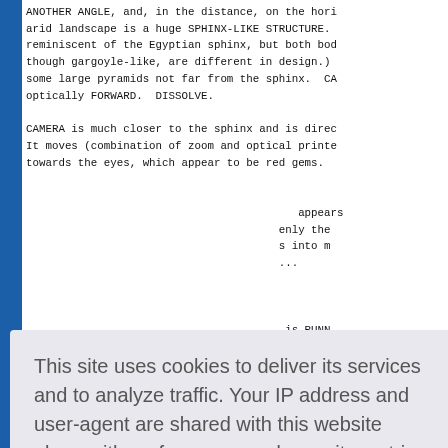ANOTHER ANGLE, and, in the distance, on the horizon of an arid landscape is a huge SPHINX-LIKE STRUCTURE. (It is reminiscent of the Egyptian sphinx, but both body and head, though gargoyle-like, are different in design.) There are some large pyramids not far from the sphinx.  CAMERA MOVES optically FORWARD.  DISSOLVE.

CAMERA is much closer to the sphinx and is directed at it. It moves (combination of zoom and optical printer) SLOWLY towards the eyes, which appear to be red gems.

...appears
only the
s into m...
...

is RUNN
REMBLES 
ly make 
REATHING

urious;
composit
lay-like
tal.

The man throws a backward glance over his shoulder
fully, as he runs.  His HANDS are SPLATTERED with
This site uses cookies to deliver its services and to analyze traffic. Your IP address and user-agent are shared with this website along with performance and security metrics to ensure quality of service, generate usage statistics, and to detect and address abuse.
Learn more
Got it!